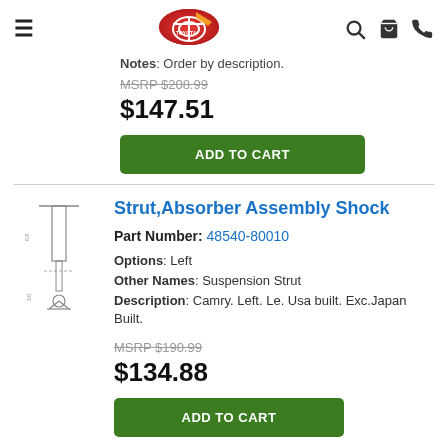Toyota parts website header with hamburger menu, logo, search, cart, and phone icons
Notes: Order by description.
MSRP $208.99
$147.51
ADD TO CART
[Figure (illustration): Technical line drawing of a strut/shock absorber assembly]
Strut,Absorber Assembly Shock
Part Number: 48540-80010
Options: Left
Other Names: Suspension Strut
Description: Camry. Left. Le. Usa built. Exc.Japan Built.
MSRP $190.99
$134.88
ADD TO CART